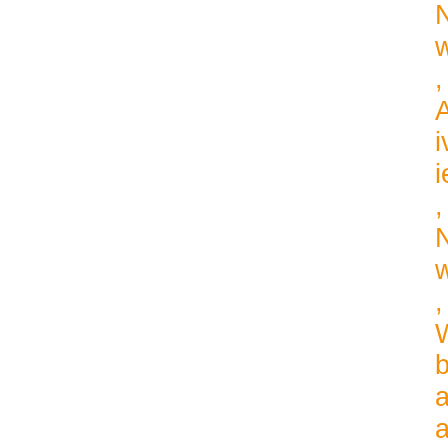News, IE Activities, News, Webinar announcements
[Figure (illustration): Orange folder icon followed by text: All events, Home Events]
ardscheme, the EuropeanDem